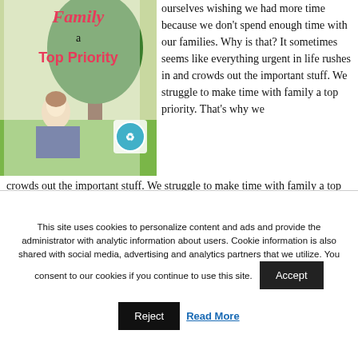[Figure (illustration): Blog post image showing a person sitting under a tree outdoors, with text overlay: 'Family a Top Priority' in stylized font, and a small logo badge in the lower right of the image.]
ourselves wishing we had more time because we don't spend enough time with our families. Why is that? It sometimes seems like everything urgent in life rushes in and crowds out the important stuff. We struggle to make time with family a top priority. That's why we
This site uses cookies to personalize content and ads and provide the administrator with analytic information about users. Cookie information is also shared with social media, advertising and analytics partners that we utilize. You consent to our cookies if you continue to use this site.